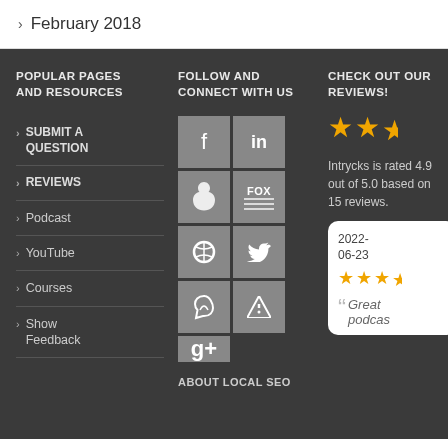February 2018
POPULAR PAGES AND RESOURCES
> SUBMIT A QUESTION
> REVIEWS
> Podcast
> YouTube
> Courses
> Show Feedback
FOLLOW AND CONNECT WITH US
[Figure (infographic): Social media icon grid: Facebook, LinkedIn, Apple, TV/Fox, Spotify, Twitter, fire/podcast icon, RSS feed, Google+]
ABOUT LOCAL SEO
CHECK OUT OUR REVIEWS!
Intrycks is rated 4.9 out of 5.0 based on 15 reviews.
2022-06-23
Great podcast